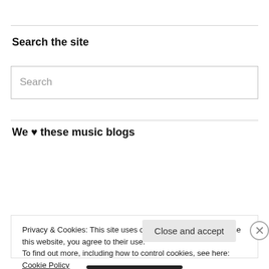Search the site
Search
We ♥ these music blogs
Keytars & Violins
Stereogum
Underground Hip Hop Blog
Privacy & Cookies: This site uses cookies. By continuing to use this website, you agree to their use.
To find out more, including how to control cookies, see here: Cookie Policy
Close and accept